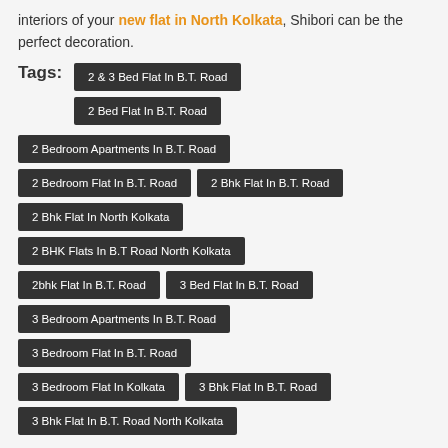interiors of your new flat in North Kolkata, Shibori can be the perfect decoration.
2 & 3 Bed Flat In B.T. Road
2 Bed Flat In B.T. Road
2 Bedroom Apartments In B.T. Road
2 Bedroom Flat In B.T. Road
2 Bhk Flat In B.T. Road
2 Bhk Flat In North Kolkata
2 BHK Flats In B.T Road North Kolkata
2bhk Flat In B.T. Road
3 Bed Flat In B.T. Road
3 Bedroom Apartments In B.T. Road
3 Bedroom Flat In B.T. Road
3 Bedroom Flat In Kolkata
3 Bhk Flat In B.T. Road
3 Bhk Flat In B.T. Road North Kolkata